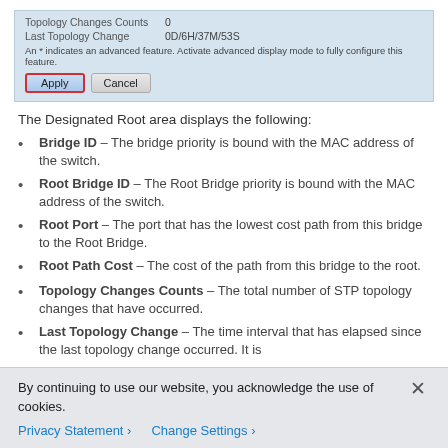[Figure (screenshot): UI screenshot showing rows: 'Last Topology Change: 0D/6H/37M/53S' and a note about advanced features, with Apply (red-bordered) and Cancel buttons on a light blue background.]
The Designated Root area displays the following:
Bridge ID – The bridge priority is bound with the MAC address of the switch.
Root Bridge ID – The Root Bridge priority is bound with the MAC address of the switch.
Root Port – The port that has the lowest cost path from this bridge to the Root Bridge.
Root Path Cost – The cost of the path from this bridge to the root.
Topology Changes Counts – The total number of STP topology changes that have occurred.
Last Topology Change – The time interval that has elapsed since the last topology change occurred. It is
By continuing to use our website, you acknowledge the use of cookies.
Privacy Statement > Change Settings >